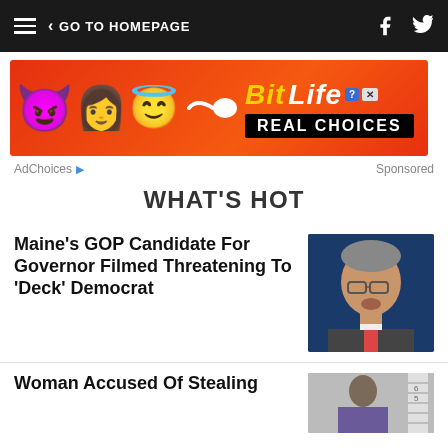GO TO HOMEPAGE
[Figure (screenshot): BitLife advertisement banner with emoji characters and 'REAL CHOICES' tagline on red background]
AdChoices ▷  Sponsored
WHAT'S HOT
Maine's GOP Candidate For Governor Filmed Threatening To 'Deck' Democrat
[Figure (photo): Photo of older man with glasses speaking at an event]
Woman Accused Of Stealing